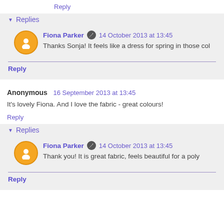Reply
Replies
Fiona Parker  14 October 2013 at 13:45
Thanks Sonja! It feels like a dress for spring in those col
Reply
Anonymous  16 September 2013 at 13:45
It's lovely Fiona. And I love the fabric - great colours!
Reply
Replies
Fiona Parker  14 October 2013 at 13:45
Thank you! It is great fabric, feels beautiful for a poly
Reply